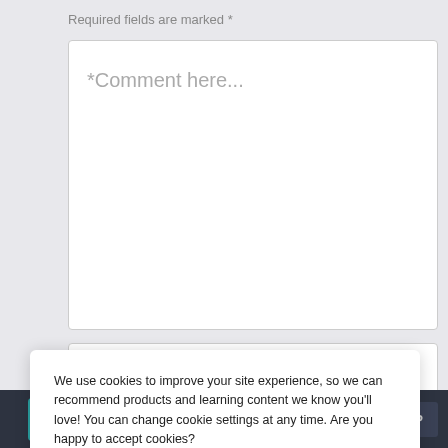Required fields are marked *
*Comment here...
*Name
*Email
We use cookies to improve your site experience, so we can recommend products and learning content we know you'll love! You can change cookie settings at any time. Are you happy to accept cookies?
Manage Cookie Preferences
Yes I'm Happy
Add to Cart
TOP